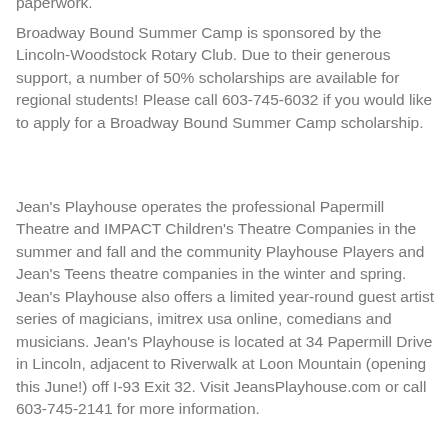paperwork.
Broadway Bound Summer Camp is sponsored by the Lincoln-Woodstock Rotary Club. Due to their generous support, a number of 50% scholarships are available for regional students! Please call 603-745-6032 if you would like to apply for a Broadway Bound Summer Camp scholarship.
Jean's Playhouse operates the professional Papermill Theatre and IMPACT Children's Theatre Companies in the summer and fall and the community Playhouse Players and Jean's Teens theatre companies in the winter and spring. Jean's Playhouse also offers a limited year-round guest artist series of magicians, imitrex usa online, comedians and musicians. Jean's Playhouse is located at 34 Papermill Drive in Lincoln, adjacent to Riverwalk at Loon Mountain (opening this June!) off I-93 Exit 32. Visit JeansPlayhouse.com or call 603-745-2141 for more information.